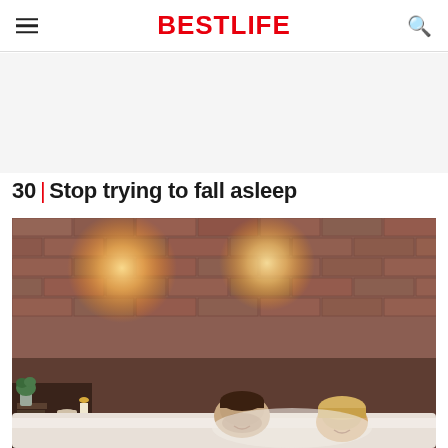BestLife
30 | Stop trying to fall asleep
[Figure (photo): A couple lying in bed in a rustic brick-walled bedroom with warm bokeh lights, laughing and looking relaxed. Nightstand visible with books, mug, candle, and small plant.]